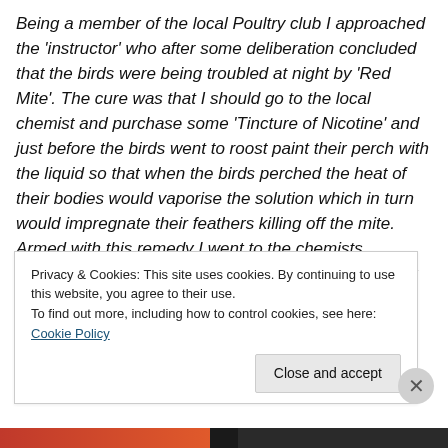Being a member of the local Poultry club I approached the 'instructor' who after some deliberation concluded that the birds were being troubled at night by 'Red Mite'. The cure was that I should go to the local chemist and purchase some 'Tincture of Nicotine' and just before the birds went to roost paint their perch with the liquid so that when the birds perched the heat of their bodies would vaporise the solution which in turn would impregnate their feathers killing off the mite. Armed with this remedy I went to the chemists (Timothy Whites who had a shop in Crisp Street) only to be told that I needed a 'Certificate to Purchase' to
Privacy & Cookies: This site uses cookies. By continuing to use this website, you agree to their use.
To find out more, including how to control cookies, see here: Cookie Policy
Close and accept